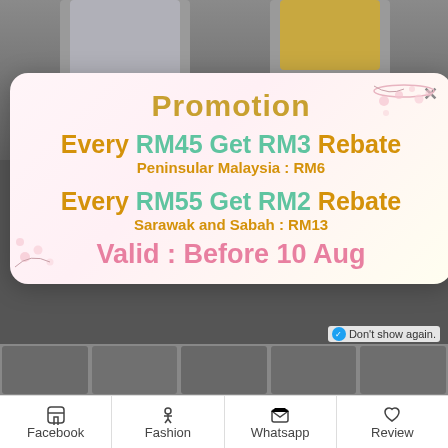[Figure (screenshot): Background showing partial view of fashion clothing items on models, grey/dark background]
Promotion
Every RM45 Get RM3 Rebate
Peninsular Malaysia : RM6
Every RM55 Get RM2 Rebate
Sarawak and Sabah : RM13
Valid : Before 10 Aug
Don't show again.
Facebook | Fashion | Whatsapp | Review